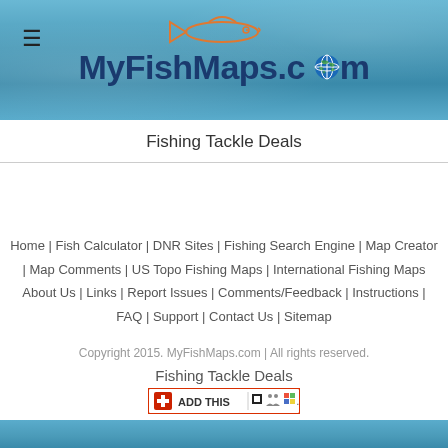MyFishMaps.com
Fishing Tackle Deals
Home | Fish Calculator | DNR Sites | Fishing Search Engine | Map Creator | Map Comments | US Topo Fishing Maps | International Fishing Maps About Us | Links | Report Issues | Comments/Feedback | Instructions | FAQ | Support | Contact Us | Sitemap Copyright 2015. MyFishMaps.com | All rights reserved. Fishing Tackle Deals